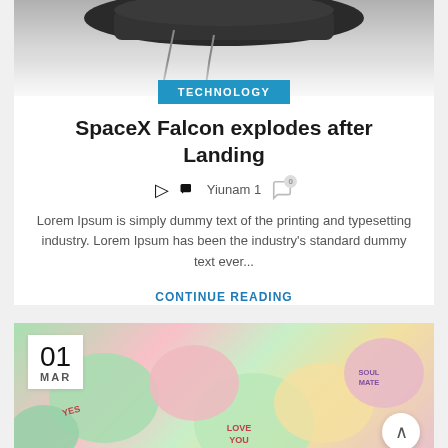[Figure (photo): Top portion of a dark mechanical/tech device (appears to be a vacuum or space-related equipment) against a light grey gradient background]
TECHNOLOGY
SpaceX Falcon explodes after Landing
Yiunam 1
Lorem Ipsum is simply dummy text of the printing and typesetting industry. Lorem Ipsum has been the industry's standard dummy text ever...
CONTINUE READING
[Figure (photo): Colorful candy hearts (love hearts sweets) with text including YES, LOVE YOU, SOUL MATE in various pastel colors]
01 MAR